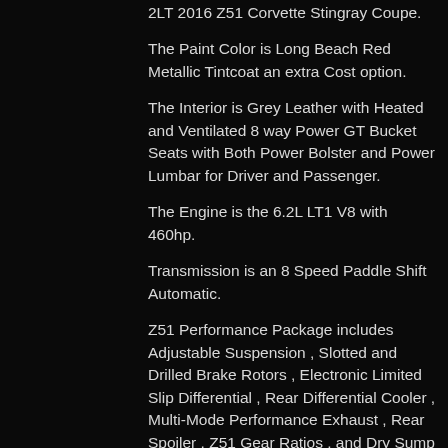2LT 2016 Z51 Corvette Stingray Coupe.
The Paint Color is Long Beach Red Metallic Tintcoat an extra Cost option.
The Interior is Grey Leather with Heated and Ventilated 8 way Power GT Bucket Seats with Both Power Bolster and Power Lumbar for Driver and Passenger.
The Engine is the 6.2L LT1 V8 with 460hp.
Transmission is an 8 Speed Paddle Shift Automatic.
Z51 Performance Package includes Adjustable Suspension , Slotted and Drilled Brake Rotors , Electronic Limited Slip Differential , Rear Differential Cooler , Multi-Mode Performance Exhaust , Rear Spoiler , Z51 Gear Ratios , and Dry Sump Oil System. Some of the options are Dual Zone Climate Control , Power Tilt and Telescopic Steering Column, , Leather Wrapped Flat Bottom Steering Wheel , 8" Color Screen Audio System with Surround Sound , Heads-Up Display in Color , Front Curb View Cameras